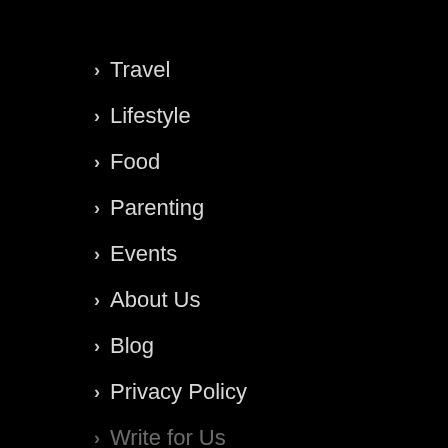> Travel
> Lifestyle
> Food
> Parenting
> Events
> About Us
> Blog
> Privacy Policy
> Write for Us